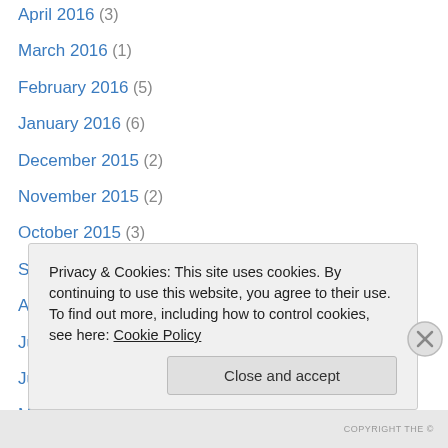April 2016 (3)
March 2016 (1)
February 2016 (5)
January 2016 (6)
December 2015 (2)
November 2015 (2)
October 2015 (3)
September 2015 (3)
August 2015 (5)
July 2015 (2)
June 2015 (8)
May 2015 (3)
April 2015 (7)
March 2015 (11)
Privacy & Cookies: This site uses cookies. By continuing to use this website, you agree to their use.
To find out more, including how to control cookies, see here: Cookie Policy
Close and accept